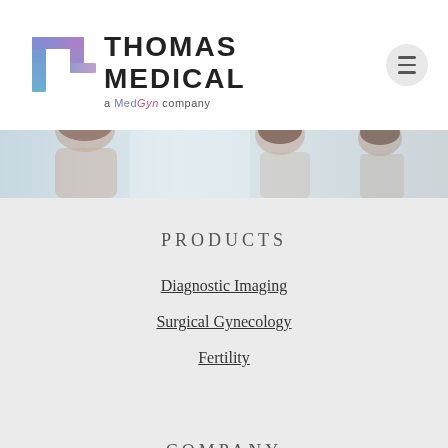[Figure (logo): Thomas Medical logo - stylized T/F letterform in blue-purple gradient with text THOMAS MEDICAL and 'a MedGyn company' tagline]
[Figure (photo): Hero banner photo showing people, appears to be medical or office setting with women and a man in background]
PRODUCTS
Diagnostic Imaging
Surgical Gynecology
Fertility
COMPANY
About Us